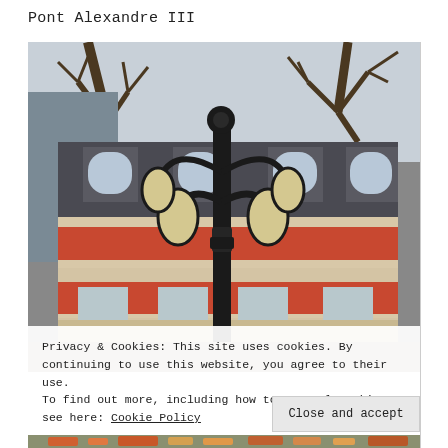Pont Alexandre III
[Figure (photo): Photograph of an ornate Parisian street lamp with multiple lanterns in front of a classic Haussmann-style building with red brick and stone facade, bare trees visible, overcast sky]
Privacy & Cookies: This site uses cookies. By continuing to use this website, you agree to their use.
To find out more, including how to control cookies, see here: Cookie Policy
Close and accept
[Figure (photo): Partial view of another photograph at the bottom of the page showing colorful flowers or garden scenery]